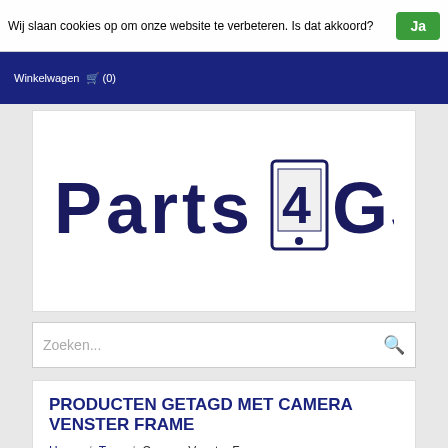Wij slaan cookies op om onze website te verbeteren. Is dat akkoord? Ja
Winkelwagen (0)
[Figure (logo): Parts4GSM logo with stylized text and mobile device icon]
Zoeken...
PRODUCTEN GETAGD MET CAMERA VENSTER FRAME
Home / Tags / Camera Venster Frame
Hoogste prijs